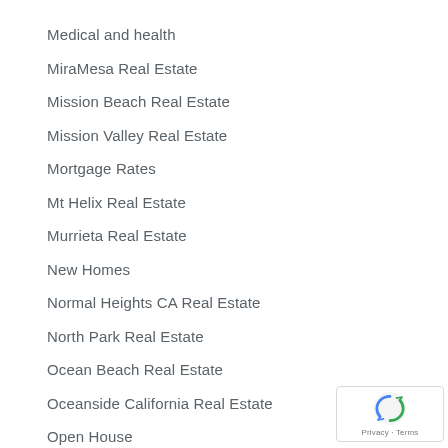Medical and health
MiraMesa Real Estate
Mission Beach Real Estate
Mission Valley Real Estate
Mortgage Rates
Mt Helix Real Estate
Murrieta Real Estate
New Homes
Normal Heights CA Real Estate
North Park Real Estate
Ocean Beach Real Estate
Oceanside California Real Estate
Open House
Otay Ranch Chula Vista Real Estate
Pacific Beach Real Estate